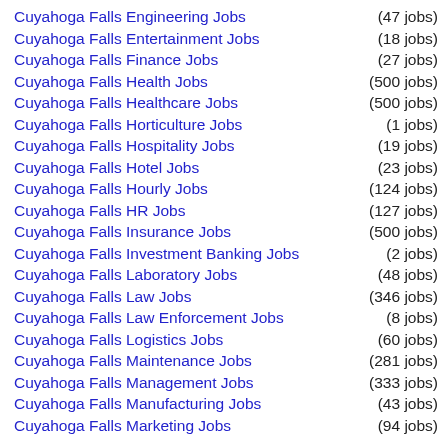Cuyahoga Falls Engineering Jobs (47 jobs)
Cuyahoga Falls Entertainment Jobs (18 jobs)
Cuyahoga Falls Finance Jobs (27 jobs)
Cuyahoga Falls Health Jobs (500 jobs)
Cuyahoga Falls Healthcare Jobs (500 jobs)
Cuyahoga Falls Horticulture Jobs (1 jobs)
Cuyahoga Falls Hospitality Jobs (19 jobs)
Cuyahoga Falls Hotel Jobs (23 jobs)
Cuyahoga Falls Hourly Jobs (124 jobs)
Cuyahoga Falls HR Jobs (127 jobs)
Cuyahoga Falls Insurance Jobs (500 jobs)
Cuyahoga Falls Investment Banking Jobs (2 jobs)
Cuyahoga Falls Laboratory Jobs (48 jobs)
Cuyahoga Falls Law Jobs (346 jobs)
Cuyahoga Falls Law Enforcement Jobs (8 jobs)
Cuyahoga Falls Logistics Jobs (60 jobs)
Cuyahoga Falls Maintenance Jobs (281 jobs)
Cuyahoga Falls Management Jobs (333 jobs)
Cuyahoga Falls Manufacturing Jobs (43 jobs)
Cuyahoga Falls Marketing Jobs (94 jobs)